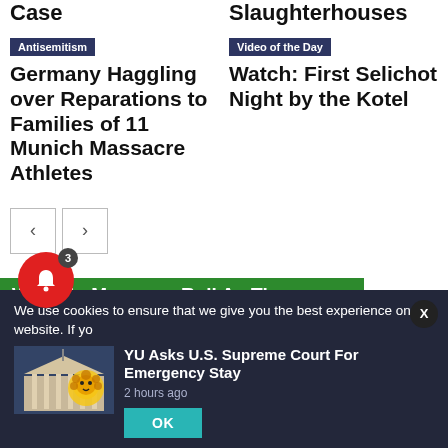Case
Slaughterhouses
Antisemitism
Germany Haggling over Reparations to Families of 11 Munich Massacre Athletes
Video of the Day
Watch: First Selichot Night by the Kotel
[Figure (other): Navigation arrows: left and right]
[Figure (other): Green banner with text: When in Morocco, Roll As The Something Random from the]
We use cookies to ensure that we give you the best experience on our website. If yo
[Figure (photo): Thumbnail of a court building with a cartoon lion mascot overlay]
YU Asks U.S. Supreme Court For Emergency Stay
2 hours ago
OK